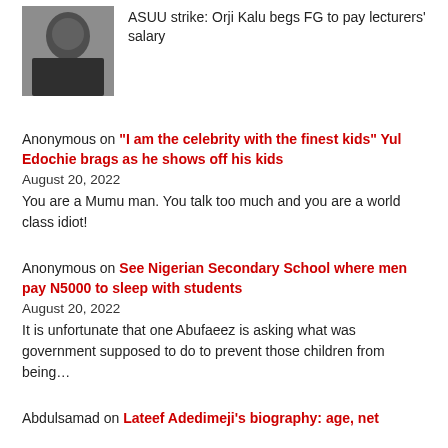[Figure (photo): Photo of a man in dark clothing sitting at a desk]
ASUU strike: Orji Kalu begs FG to pay lecturers' salary
Anonymous on "I am the celebrity with the finest kids" Yul Edochie brags as he shows off his kids
August 20, 2022
You are a Mumu man. You talk too much and you are a world class idiot!
Anonymous on See Nigerian Secondary School where men pay N5000 to sleep with students
August 20, 2022
It is unfortunate that one Abufaeez is asking what was government supposed to do to prevent those children from being…
Abdulsamad on Lateef Adedimeji's biography: age, net